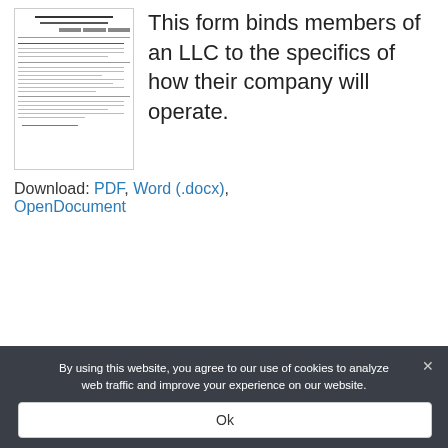[Figure (illustration): Thumbnail preview of a legal LLC Operating Agreement document form]
This form binds members of an LLC to the specifics of how their company will operate.
Download: PDF, Word (.docx), OpenDocument
Laws
By using this website, you agree to our use of cookies to analyze web traffic and improve your experience on our website.
Ok